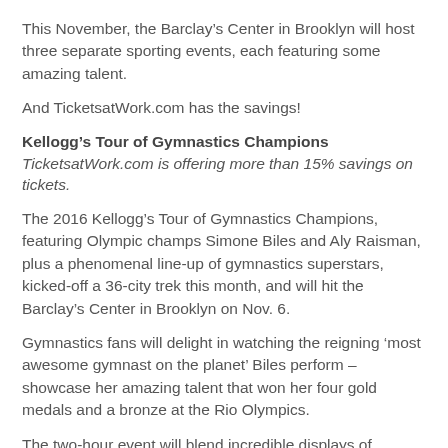This November, the Barclay's Center in Brooklyn will host three separate sporting events, each featuring some amazing talent.
And TicketsatWork.com has the savings!
Kellogg's Tour of Gymnastics Champions
TicketsatWork.com is offering more than 15% savings on tickets.
The 2016 Kellogg's Tour of Gymnastics Champions, featuring Olympic champs Simone Biles and Aly Raisman, plus a phenomenal line-up of gymnastics superstars, kicked-off a 36-city trek this month, and will hit the Barclay's Center in Brooklyn on Nov. 6.
Gymnastics fans will delight in watching the reigning ‘most awesome gymnast on the planet’ Biles perform – showcase her amazing talent that won her four gold medals and a bronze at the Rio Olympics.
The two-hour event will blend incredible displays of athleticism with a dazzling light show and a toe-tapping, super groovy soundtrack. At each tour stop, local gymnasts are expected to join the cast of gymnastics champions.